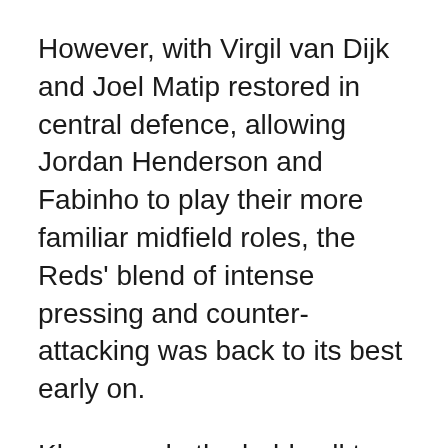However, with Virgil van Dijk and Joel Matip restored in central defence, allowing Jordan Henderson and Fabinho to play their more familiar midfield roles, the Reds' blend of intense pressing and counter-attacking was back to its best early on.
Klopp made the bold call to give 18-year-old Harvey Elliott just his second Premier League start with Thiago Alcantara left on the bench.
Elliott fired the first shot inches wide before Henderson then missed a glorious chance to open the scoring when he volleyed wide on his weaker left foot from Trent Alexander-Arnold's inch-perfect cross.
Chelsea had barely threatened until they hit